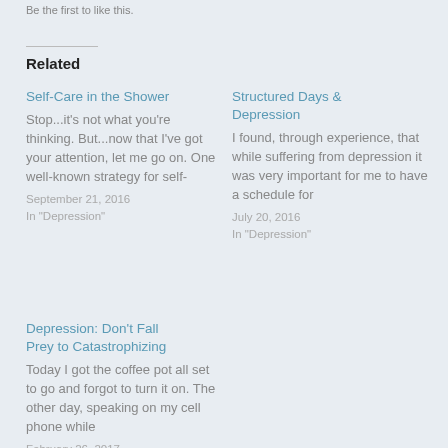Be the first to like this.
Related
Self-Care in the Shower
Stop...it's not what you're thinking. But...now that I've got your attention, let me go on. One well-known strategy for self-
September 21, 2016
In "Depression"
Structured Days & Depression
I found, through experience, that while suffering from depression it was very important for me to have a schedule for
July 20, 2016
In "Depression"
Depression: Don't Fall Prey to Catastrophizing
Today I got the coffee pot all set to go and forgot to turn it on. The other day, speaking on my cell phone while
February 26, 2017